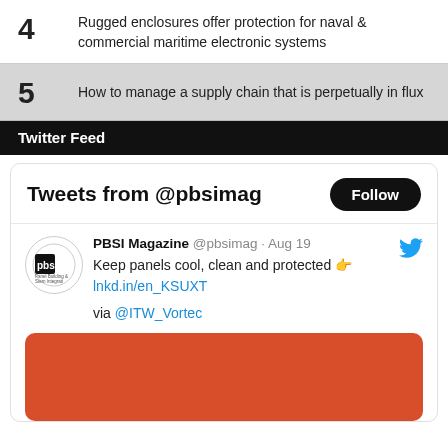4  Rugged enclosures offer protection for naval & commercial maritime electronic systems
5  How to manage a supply chain that is perpetually in flux
Twitter Feed
Tweets from @pbsimag
PBSI Magazine @pbsimag · Aug 19
Keep panels cool, clean and protected 👉
lnkd.in/en_KSUXT

via @ITW_Vortec